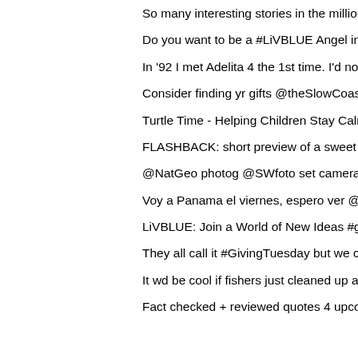So many interesting stories in the million+ #bluemarbles cir…
Do you want to be a #LiVBLUE Angel in 2014? All ocean lov…
In '92 I met Adelita 4 the 1st time. I'd no idea how old she w…
Consider finding yr gifts @theSlowCoast, products by local …
Turtle Time - Helping Children Stay Calm #BlueMind @Dalail…
FLASHBACK: short preview of a sweet film about loggerhe…
@NatGeo photog @SWfoto set cameratraps in r front yard …
Voy a Panama el viernes, espero ver @rubenblades y presen…
LiVBLUE: Join a World of New Ideas #givingbluesday #giving…
They all call it #GivingTuesday but we call it #GivingBluesday…
It wd be cool if fishers just cleaned up after themselves: Plas…
Fact checked + reviewed quotes  4 upcoming @NatGeo arti…